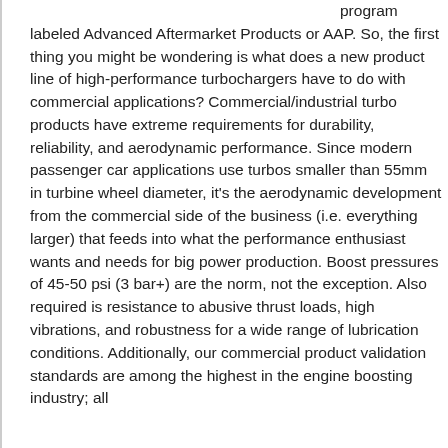program labeled Advanced Aftermarket Products or AAP. So, the first thing you might be wondering is what does a new product line of high-performance turbochargers have to do with commercial applications? Commercial/industrial turbo products have extreme requirements for durability, reliability, and aerodynamic performance. Since modern passenger car applications use turbos smaller than 55mm in turbine wheel diameter, it's the aerodynamic development from the commercial side of the business (i.e. everything larger) that feeds into what the performance enthusiast wants and needs for big power production. Boost pressures of 45-50 psi (3 bar+) are the norm, not the exception. Also required is resistance to abusive thrust loads, high vibrations, and robustness for a wide range of lubrication conditions. Additionally, our commercial product validation standards are among the highest in the engine boosting industry; all